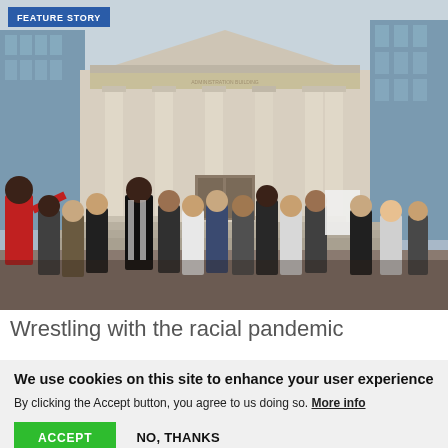[Figure (photo): Crowd of people standing in front of a classical columned building (church or government building), some wearing masks, some holding signs. A person in a red jacket gestures on the left. The scene appears to be a protest or gathering outdoors in an urban setting.]
Wrestling with the racial pandemic
We use cookies on this site to enhance your user experience
By clicking the Accept button, you agree to us doing so. More info
ACCEPT
NO, THANKS